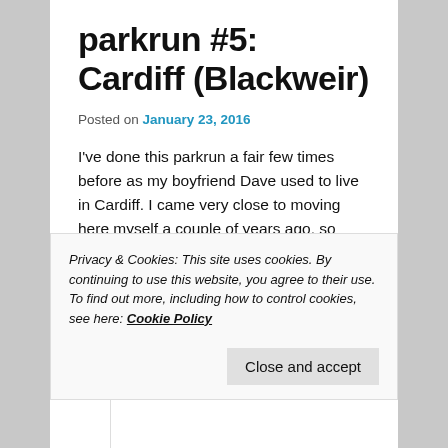parkrun #5: Cardiff (Blackweir)
Posted on January 23, 2016
I've done this parkrun a fair few times before as my boyfriend Dave used to live in Cardiff. I came very close to moving here myself a couple of years ago, so being back makes me feel quite nostalgic and gets me wondering what might have been!
Privacy & Cookies: This site uses cookies. By continuing to use this website, you agree to their use. To find out more, including how to control cookies, see here: Cookie Policy